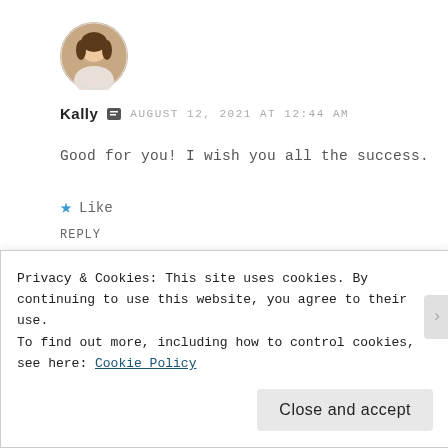[Figure (photo): Circular avatar photo of a woman with short dark hair, smiling, outdoors background]
Kally  ▣  AUGUST 12, 2021 AT 12:44 AM
Good for you! I wish you all the success.
★ Like
REPLY
[Figure (photo): Circular avatar photo with warm outdoor scene]
Privacy & Cookies: This site uses cookies. By continuing to use this website, you agree to their use.
To find out more, including how to control cookies, see here: Cookie Policy
Close and accept